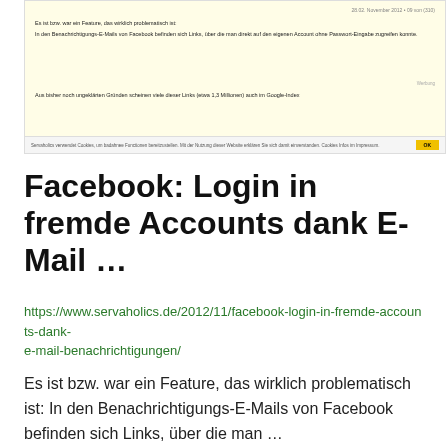[Figure (screenshot): Screenshot of a browser window showing a Facebook notification security article on a yellow background, with German text about links in Facebook notification emails that allow direct account access without password. Has a cookie consent bar at the bottom with an OK button.]
Facebook: Login in fremde Accounts dank E-Mail …
https://www.servaholics.de/2012/11/facebook-login-in-fremde-accounts-dank-e-mail-benachrichtigungen/
Es ist bzw. war ein Feature, das wirklich problematisch ist: In den Benachrichtigungs-E-Mails von Facebook befinden sich Links, über die man …